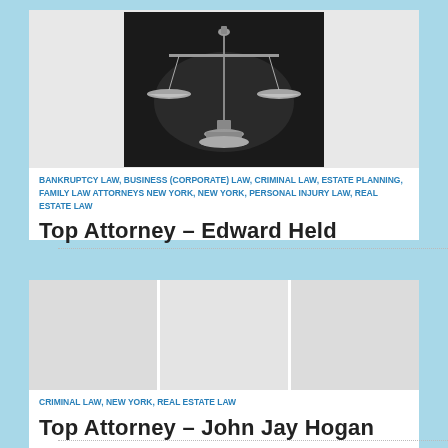[Figure (photo): Dark dramatic photo of a bronze justice scales (balance/weighing scales) on a dark background]
BANKRUPTCY LAW, BUSINESS (CORPORATE) LAW, CRIMINAL LAW, ESTATE PLANNING, FAMILY LAW ATTORNEYS NEW YORK, NEW YORK, PERSONAL INJURY LAW, REAL ESTATE LAW
Top Attorney – Edward Held
[Figure (photo): Three placeholder gray image blocks side by side]
CRIMINAL LAW, NEW YORK, REAL ESTATE LAW
Top Attorney – John Jay Hogan